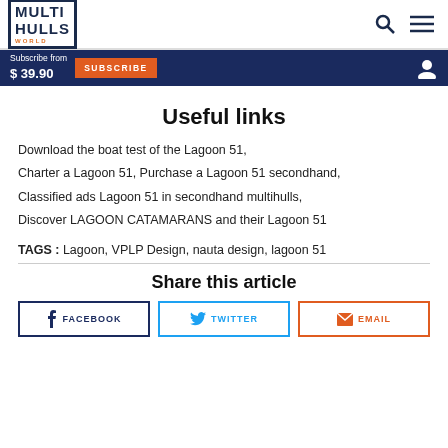MULTI HULLS WORLD
Subscribe from $39.90 SUBSCRIBE
Useful links
Download the boat test of the Lagoon 51,
Charter a Lagoon 51, Purchase a Lagoon 51 secondhand,
Classified ads Lagoon 51 in secondhand multihulls,
Discover LAGOON CATAMARANS and their Lagoon 51
TAGS : Lagoon, VPLP Design, nauta design, lagoon 51
Share this article
FACEBOOK | TWITTER | EMAIL